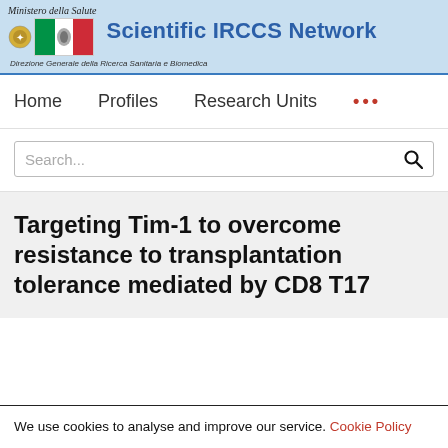Ministero della Salute — Scientific IRCCS Network — Direzione Generale della Ricerca Sanitaria e Biomedica
Home    Profiles    Research Units    ...
Search...
Targeting Tim-1 to overcome resistance to transplantation tolerance mediated by CD8 T17
We use cookies to analyse and improve our service. Cookie Policy